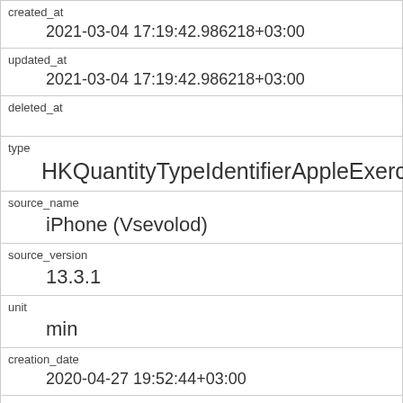| created_at | 2021-03-04 17:19:42.986218+03:00 |
| updated_at | 2021-03-04 17:19:42.986218+03:00 |
| deleted_at |  |
| type | HKQuantityTypeIdentifierAppleExerciseTime |
| source_name | iPhone (Vsevolod) |
| source_version | 13.3.1 |
| unit | min |
| creation_date | 2020-04-27 19:52:44+03:00 |
| start_date | 2020-04-27 19:49:00+03:00 |
| end_date | 2020-04-27 19:50:00+03:00 |